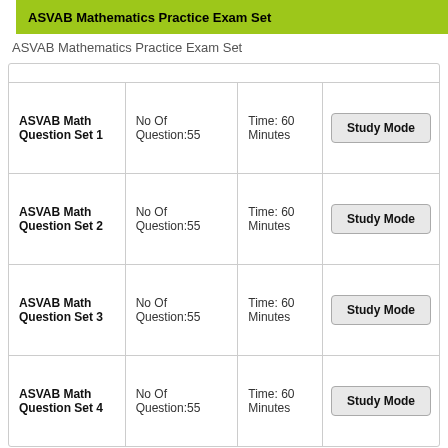ASVAB Mathematics Practice Exam Set
ASVAB Mathematics Practice Exam Set
| Name | Questions | Time | Action |
| --- | --- | --- | --- |
| ASVAB Math Question Set 1 | No Of Question:55 | Time: 60 Minutes | Study Mode |
| ASVAB Math Question Set 2 | No Of Question:55 | Time: 60 Minutes | Study Mode |
| ASVAB Math Question Set 3 | No Of Question:55 | Time: 60 Minutes | Study Mode |
| ASVAB Math Question Set 4 | No Of Question:55 | Time: 60 Minutes | Study Mode |